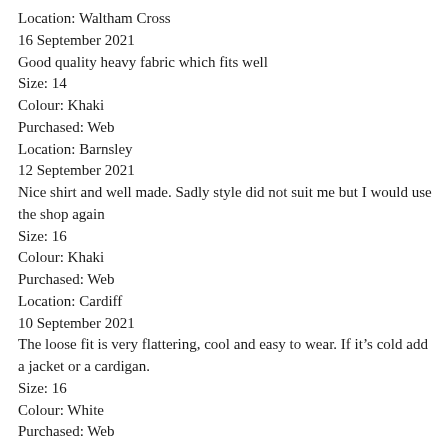Location: Waltham Cross
16 September 2021
Good quality heavy fabric which fits well
Size: 14
Colour: Khaki
Purchased: Web
Location: Barnsley
12 September 2021
Nice shirt and well made. Sadly style did not suit me but I would use the shop again
Size: 16
Colour: Khaki
Purchased: Web
Location: Cardiff
10 September 2021
The loose fit is very flattering, cool and easy to wear. If it's cold add a jacket or a cardigan.
Size: 16
Colour: White
Purchased: Web
Location: Haslemere
10 September 2021
The linen was very thick and uncomfortable
Colour: Khaki
09 September 2021